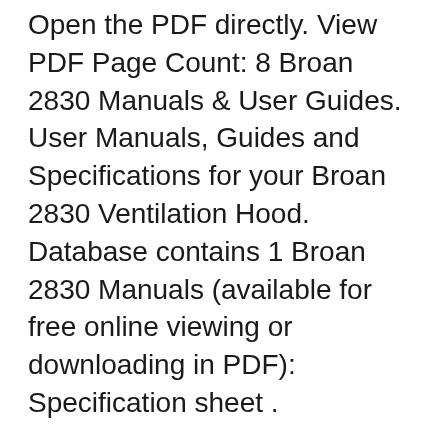Open the PDF directly. View PDF Page Count: 8 Broan 2830 Manuals & User Guides. User Manuals, Guides and Specifications for your Broan 2830 Ventilation Hood. Database contains 1 Broan 2830 Manuals (available for free online viewing or downloading in PDF): Specification sheet .
Broan 30-in Convertible Stainless Steel Undercabinet Range Hood (Common: 30 Inch; Actual: 29.87-in) at Lowe's. The slim and refined lines of Sahale bring a refreshing change to today's kitchens. Brilliant halogen lighting complements your cooking experience and a Broan 30-in Convertible Stainless Steel Undercabinet Range Hood (Common: 30